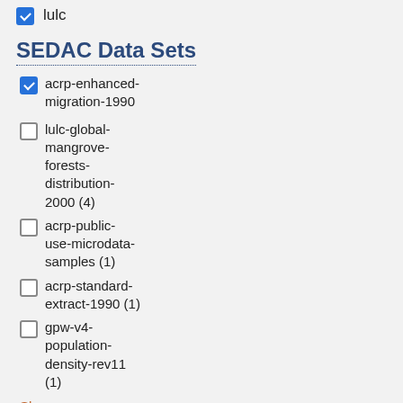lulc
SEDAC Data Sets
acrp-enhanced-migration-1990 (checked)
lulc-global-mangrove-forests-distribution-2000 (4)
acrp-public-use-microdata-samples (1)
acrp-standard-extract-1990 (1)
gpw-v4-population-density-rev11 (1)
Show more